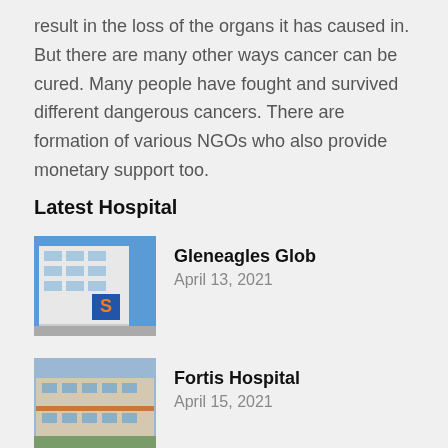result in the loss of the organs it has caused in. But there are many other ways cancer can be cured. Many people have fought and survived different dangerous cancers. There are formation of various NGOs who also provide monetary support too.
Latest Hospital
[Figure (photo): Photo of Gleneagles Glob hospital building with blue glass facade and orange logo]
Gleneagles Glob
April 13, 2021
[Figure (photo): Photo of Fortis Hospital building exterior]
Fortis Hospital
April 15, 2021